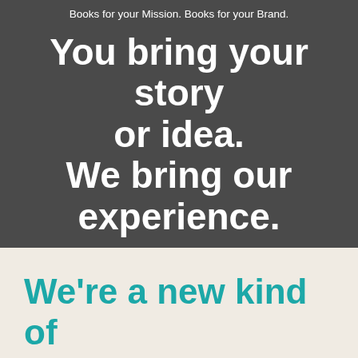Books for your Mission. Books for your Brand.
You bring your story or idea. We bring our experience.
Contact Us
We're a new kind of